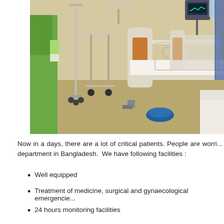[Figure (photo): Hospital ward showing medical beds with equipment, including IV stands, monitoring devices, and medical furniture. A person in green clothing is visible on the left side.]
Now in a days, there are a lot of critical patients. People are worri... department in Bangladesh. We have following facilities :
Well equipped
Treatment of medicine, surgical and gynaecological emergencie...
24 hours monitoring facilities